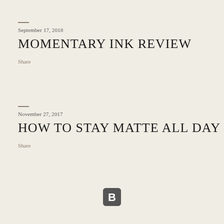September 17, 2018
MOMENTARY INK REVIEW
Share
November 27, 2017
HOW TO STAY MATTE ALL DAY
Share
[Figure (logo): Blogger icon: dark gray rounded square with white B]